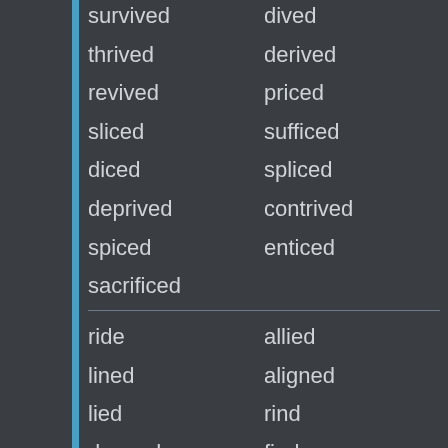survived
dived
thrived
derived
revived
priced
sliced
sufficed
diced
spliced
deprived
contrived
spiced
enticed
sacrificed
ride
allied
lined
aligned
lied
rind
rhymed
find
kind
mind
side
child